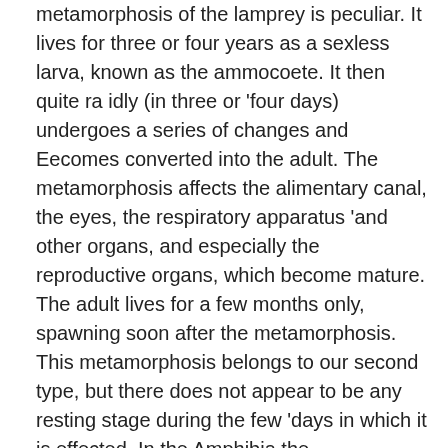metamorphosis of the lamprey is peculiar. It lives for three or four years as a sexless larva, known as the ammocoete. It then quite ra idly (in three or 'four days) undergoes a series of changes and Eecomes converted into the adult. The metamorphosis affects the alimentary canal, the eyes, the respiratory apparatus 'and other organs, and especially the reproductive organs, which become mature. The adult lives for a few months only, spawning soon after the metamorphosis. This metamorphosis belongs to our second type, but there does not appear to be any resting stage during the few 'days in which it is effected. In the Amphibia the metamorphosis is fairly exemplified by that of the frog. In many fishes there is a considerable larval development, but this is perfectly gradual and there does not appear to be anything of the nature of a metamorphosis.
In most cases of metamorphosis those organs of the larva,